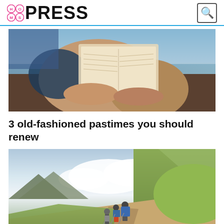Hot Mess Press
[Figure (photo): Close-up of a person's hands holding an open book near a lake or water body, wearing bracelets, with blue jeans visible]
3 old-fashioned pastimes you should renew
[Figure (photo): Three hikers with backpacks and trekking poles walking up a mountain trail on a green hillside with clouds and mountains in background]